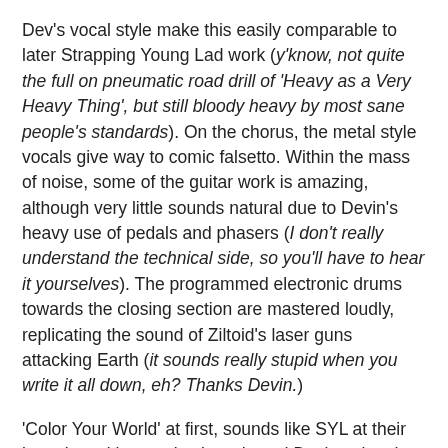Dev's vocal style make this easily comparable to later Strapping Young Lad work (y'know, not quite the full on pneumatic road drill of 'Heavy as a Very Heavy Thing', but still bloody heavy by most sane people's standards). On the chorus, the metal style vocals give way to comic falsetto. Within the mass of noise, some of the guitar work is amazing, although very little sounds natural due to Devin's heavy use of pedals and phasers (I don't really understand the technical side, so you'll have to hear it yourselves). The programmed electronic drums towards the closing section are mastered loudly, replicating the sound of Ziltoid's laser guns attacking Earth (it sounds really stupid when you write it all down, eh? Thanks Devin.)
'Color Your World' at first, sounds like SYL at their best, but with extra keyboards and Devin using the vocal style most associated with his 'Terria' album. There's a good musical idea in here, but the pounding and density (there's that word again, but no others fit the bill as effectively) masks any of the underlying subtleties. The